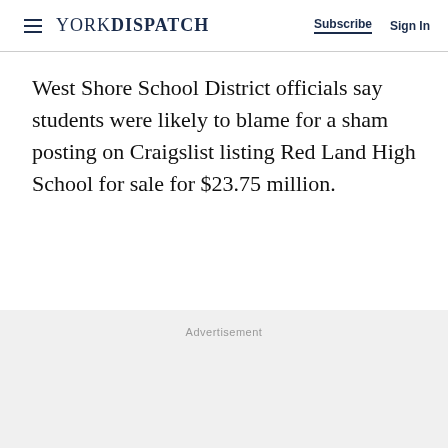YORK DISPATCH | Subscribe | Sign In
West Shore School District officials say students were likely to blame for a sham posting on Craigslist listing Red Land High School for sale for $23.75 million.
Advertisement